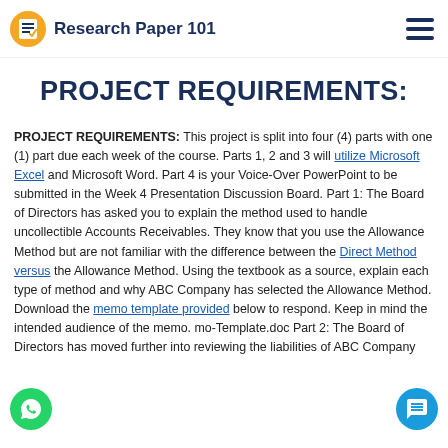Research Paper 101
PROJECT REQUIREMENTS:
PROJECT REQUIREMENTS: This project is split into four (4) parts with one (1) part due each week of the course. Parts 1, 2 and 3 will utilize Microsoft Excel and Microsoft Word. Part 4 is your Voice-Over PowerPoint to be submitted in the Week 4 Presentation Discussion Board. Part 1: The Board of Directors has asked you to explain the method used to handle uncollectible Accounts Receivables. They know that you use the Allowance Method but are not familiar with the difference between the Direct Method versus the Allowance Method. Using the textbook as a source, explain each type of method and why ABC Company has selected the Allowance Method. Download the memo template provided below to respond. Keep in mind the intended audience of the memo. mo-Template.doc Part 2: The Board of Directors has moved further into reviewing the liabilities of ABC Company